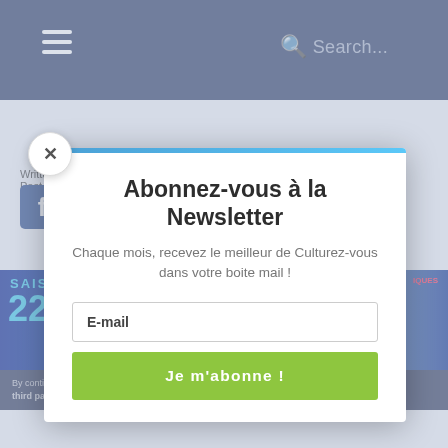[Figure (screenshot): Website header navigation bar with dark blue background, hamburger menu icon on left, search icon and placeholder text on right]
[Figure (screenshot): Website content area with partial visible elements including Facebook icon and an image strip showing 'SAISON' text]
By continuing navigation on this site, you accept the deposit of third party cookies for audience and traffic analysis in order to
Abonnez-vous à la Newsletter
Chaque mois, recevez le meilleur de Culturez-vous dans votre boite mail !
E-mail
Je m'abonne !